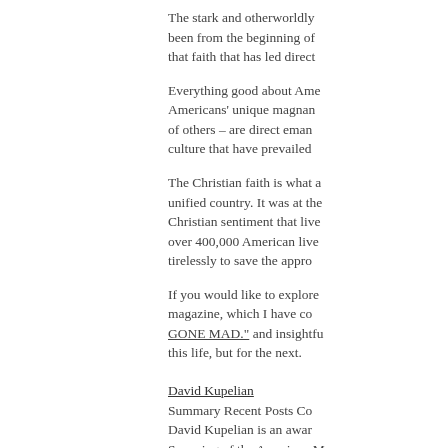The stark and otherworldly been from the beginning of that faith that has led direct
Everything good about Ame Americans' unique magnan of others – are direct eman culture that have prevailed
The Christian faith is what a unified country. It was at the Christian sentiment that live over 400,000 American live tirelessly to save the appro
If you would like to explore magazine, which I have co GONE MAD." and insightfu this life, but for the next.
David Kupelian
Summary Recent Posts Co
David Kupelian is an awar
Snapping of the American M
WND COMMENTING IS BA
Dear WND Readers and C
claims it took, in part, beca
the site to allow our tech te